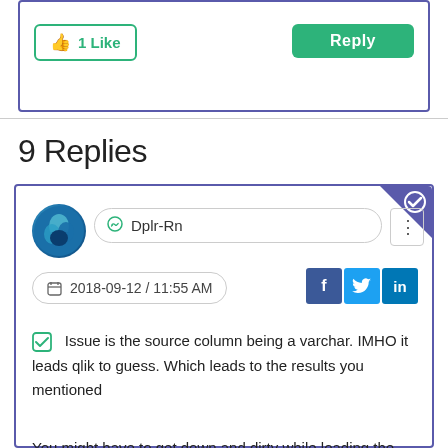1 Like
Reply
9 Replies
Dplr-Rn
2018-09-12 / 11:55 AM
Issue is the source column being a varchar. IMHO it leads qlik to guess. Which leads to the results you mentioned
You might have to get down and dirty while loading the data
15,581 Views